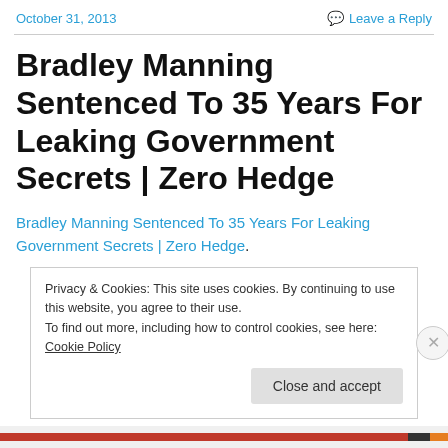October 31, 2013    Leave a Reply
Bradley Manning Sentenced To 35 Years For Leaking Government Secrets | Zero Hedge
Bradley Manning Sentenced To 35 Years For Leaking Government Secrets | Zero Hedge.
Privacy & Cookies: This site uses cookies. By continuing to use this website, you agree to their use.
To find out more, including how to control cookies, see here: Cookie Policy